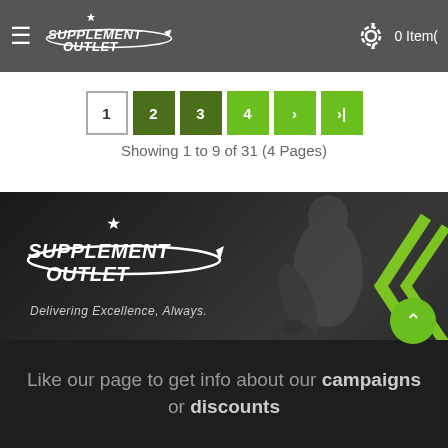Supplement Outlet - Navigation bar with hamburger menu, logo, settings gear, and cart showing 0 Item(s)
Showing 1 to 9 of 31 (4 Pages)
[Figure (screenshot): Pagination buttons: 1 (active white), 2, 3, 4, >, >| in dark green and light green]
[Figure (photo): Dark gym banner background showing person lifting kettlebell with Supplement Outlet logo overlay and green chevron arrows on right side]
Delivering Excellence, Always.
Like our page to get info about our campaigns or discounts